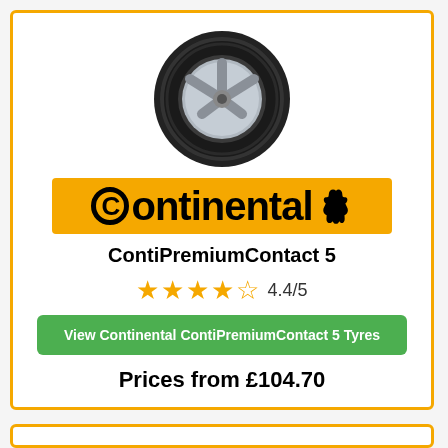[Figure (photo): Continental ContiPremiumContact 5 tyre product photo - black tyre with alloy wheel on white background]
[Figure (logo): Continental brand logo - orange/amber background with black Continental text and horse logo]
ContiPremiumContact 5
4.4/5 (4 full stars and 1 half star rating)
View Continental ContiPremiumContact 5 Tyres
Prices from £104.70